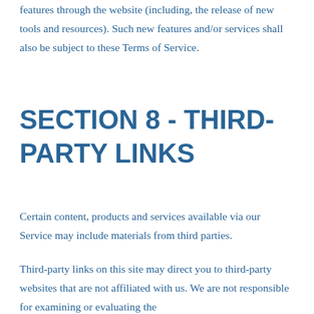features through the website (including, the release of new tools and resources). Such new features and/or services shall also be subject to these Terms of Service.
SECTION 8 - THIRD-PARTY LINKS
Certain content, products and services available via our Service may include materials from third parties.
Third-party links on this site may direct you to third-party websites that are not affiliated with us. We are not responsible for examining or evaluating the